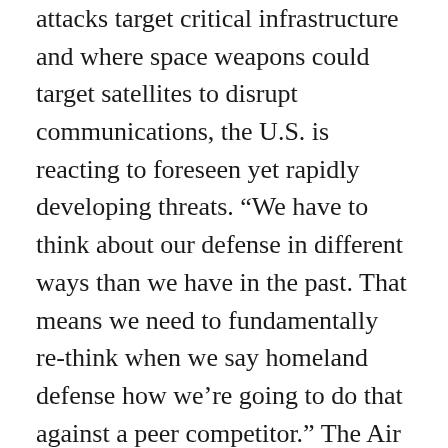attacks target critical infrastructure and where space weapons could target satellites to disrupt communications, the U.S. is reacting to foreseen yet rapidly developing threats. “We have to think about our defense in different ways than we have in the past. That means we need to fundamentally re-think when we say homeland defense how we’re going to do that against a peer competitor.” The Air Force Chief of Staff drove the point home even further: “It’s probably dangerous for us to think we can physically be a sanctuary when we’re in competition below a level of armed conflict, and we have a couple of new domains that our adversaries are operating in: cyber and space.” [source] Analyst Comment: Right now, the largest foreign threat of systems disruption would come from nation-state or nationalist hacking groups. Nation-state groups could target domestic vulnerabilities, like